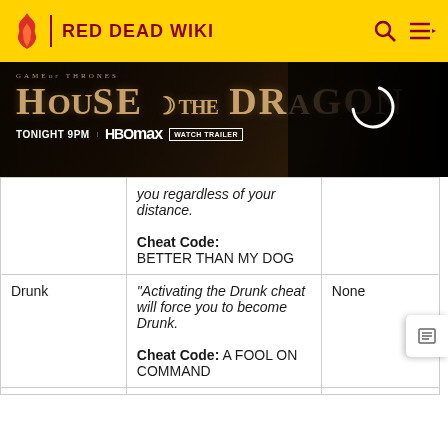RED DEAD WIKI
[Figure (photo): House of the Dragon HBO Max advertisement banner - Tonight 9PM]
| Cheat Name | Description / Cheat Code | Unlocks |
| --- | --- | --- |
|  | you regardless of your distance.

Cheat Code: BETTER THAN MY DOG |  |
| Drunk | "Activating the Drunk cheat will force you to become Drunk.

Cheat Code: A FOOL ON COMMAND | None |